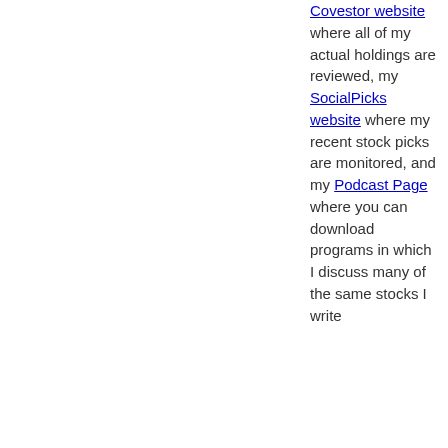Covestor website where all of my actual holdings are reviewed, my SocialPicks website where my recent stock picks are monitored, and my Podcast Page where you can download programs in which I discuss many of the same stocks I write